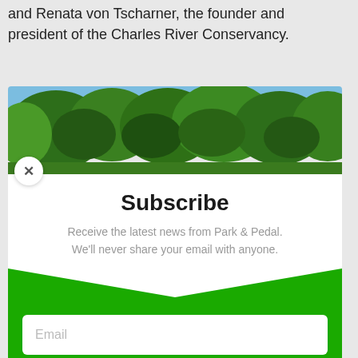and Renata von Tscharner, the founder and president of the Charles River Conservancy.
[Figure (photo): Outdoor photo of trees with green foliage against a blue sky]
Subscribe
Receive the latest news from Park & Pedal. We'll never share your email with anyone.
Email
SUBSCRIBE